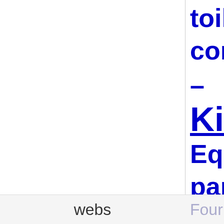toilets
corrid
–
Kitc
Equip
pans,
webs   Four